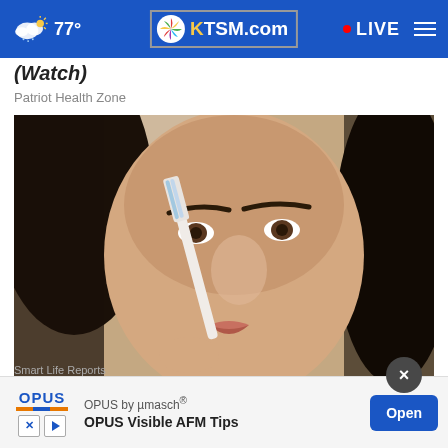77° KTSM.com LIVE
(Watch)
Patriot Health Zone
[Figure (photo): Close-up photo of a woman with dark hair applying a toothbrush to her nose, likely demonstrating a beauty or health tip.]
Do Th... Tag... Smart Life Reports
OPUS by µmasch® OPUS Visible AFM Tips Open